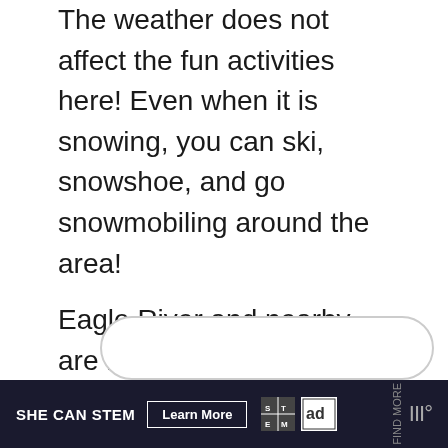The weather does not affect the fun activities here! Even when it is snowing, you can ski, snowshoe, and go snowmobiling around the area!
Eagle River and nearby are home to some of the best snowmobile trails in Wisconsin.
It's one of the cutest lake cabins in Wisconsin!
[Figure (other): Rounded pill-shaped bar element partially visible at bottom of content area]
SHE CAN STEM  Learn More  [STEM logo] [Ad Council logo] [weather app logo]